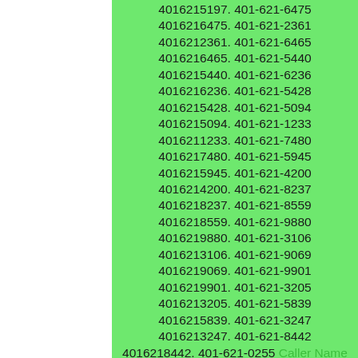4016215197. 401-621-6475
4016216475. 401-621-2361
4016212361. 401-621-6465
4016216465. 401-621-5440
4016215440. 401-621-6236
4016216236. 401-621-5428
4016215428. 401-621-5094
4016215094. 401-621-1233
4016211233. 401-621-7480
4016217480. 401-621-5945
4016215945. 401-621-4200
4016214200. 401-621-8237
4016218237. 401-621-8559
4016218559. 401-621-9880
4016219880. 401-621-3106
4016213106. 401-621-9069
4016219069. 401-621-9901
4016219901. 401-621-3205
4016213205. 401-621-5839
4016215839. 401-621-3247
4016213247. 401-621-8442
4016218442. 401-621-0255 Caller Name Identify My Caller 4016210255. 401-621-1188 4016211188. 401-621-0105 Caller Name Identify My Caller